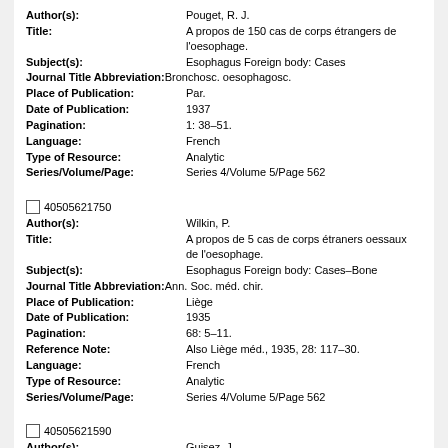Author(s): Pouget, R. J.
Title: A propos de 150 cas de corps étrangers de l'oesophage.
Subject(s): Esophagus Foreign body: Cases
Journal Title Abbreviation: Bronchosc. oesophagosc.
Place of Publication: Par.
Date of Publication: 1937
Pagination: 1: 38–51.
Language: French
Type of Resource: Analytic
Series/Volume/Page: Series 4/Volume 5/Page 562
40505621750
Author(s): Wilkin, P.
Title: A propos de 5 cas de corps étraners oessaux de l'oesophage.
Subject(s): Esophagus Foreign body: Cases–Bone
Journal Title Abbreviation: Ann. Soc. méd. chir.
Place of Publication: Liège
Date of Publication: 1935
Pagination: 68: 5–11.
Reference Note: Also Liège méd., 1935, 28: 117–30.
Language: French
Type of Resource: Analytic
Series/Volume/Page: Series 4/Volume 5/Page 562
40505621590
Author(s): Guisez, J.
Title: A propos des os et des arêtes dans l'oesophage.
Subject(s): Esophagus Foreign body: Cases–Bone
Journal Title Abbreviation: Bull. Soc. méd. Paris